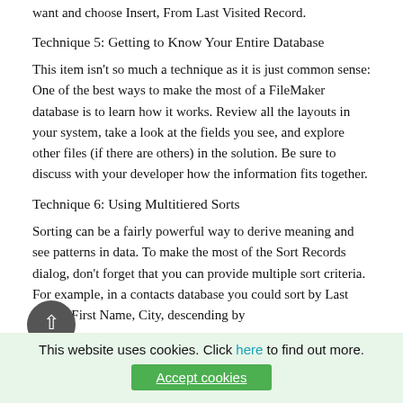want and choose Insert, From Last Visited Record.
Technique 5: Getting to Know Your Entire Database
This item isn't so much a technique as it is just common sense: One of the best ways to make the most of a FileMaker database is to learn how it works. Review all the layouts in your system, take a look at the fields you see, and explore other files (if there are others) in the solution. Be sure to discuss with your developer how the information fits together.
Technique 6: Using Multitiered Sorts
Sorting can be a fairly powerful way to derive meaning and see patterns in data. To make the most of the Sort Records dialog, don't forget that you can provide multiple sort criteria. For example, in a contacts database you could sort by Last Name, First Name, City, descending by